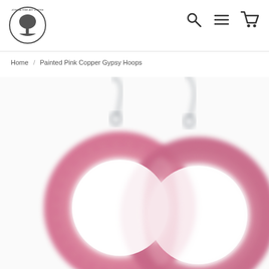[Figure (logo): Joshua Tree Art & More circular logo with tree silhouette]
[Figure (other): Navigation icons: search (magnifying glass), hamburger menu, shopping cart]
Home / Painted Pink Copper Gypsy Hoops
[Figure (photo): Close-up photo of two painted pink copper gypsy hoop earrings with silver hooks, showing circular pink metallic hoops against a white background]